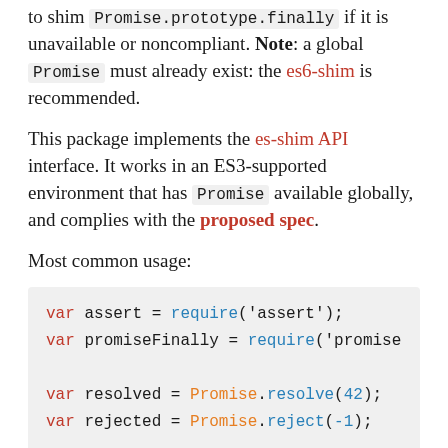to shim Promise.prototype.finally if it is unavailable or noncompliant. Note: a global Promise must already exist: the es6-shim is recommended.
This package implements the es-shim API interface. It works in an ES3-supported environment that has Promise available globally, and complies with the proposed spec.
Most common usage:
[Figure (screenshot): Code block showing: var assert = require('assert'); var promiseFinally = require('promise...); [blank line] var resolved = Promise.resolve(42); var rejected = Promise.reject(-1);]